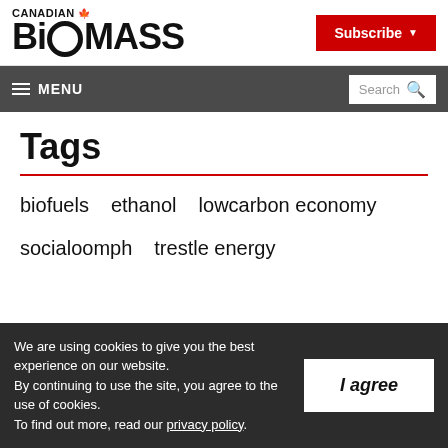CANADIAN BIOMASS
Subscribe
MENU | Search
Tags
biofuels
ethanol
lowcarbon economy
socialoomph
trestle energy
We are using cookies to give you the best experience on our website. By continuing to use the site, you agree to the use of cookies. To find out more, read our privacy policy.